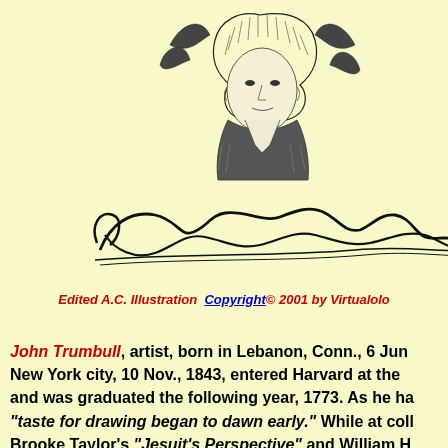[Figure (illustration): Black and white engraved portrait illustration of John Trumbull, showing his face and upper body with cross-hatching style, partially visible at top of page, along with a cursive signature 'Jn Trumbull']
Edited A.C. Illustration  Copyright© 2001 by Virtualolo
John Trumbull, artist, born in Lebanon, Conn., 6 Jun New York city, 10 Nov., 1843, entered Harvard at the and was graduated the following year, 1773. As he ha "taste for drawing began to dawn early." While at coll Brooke Taylor's "Jesuit's Perspective" and William H "Analysis of Beauty," and after returning to Lebanon death of Paulus Emilius at Cannae. When the Revolu